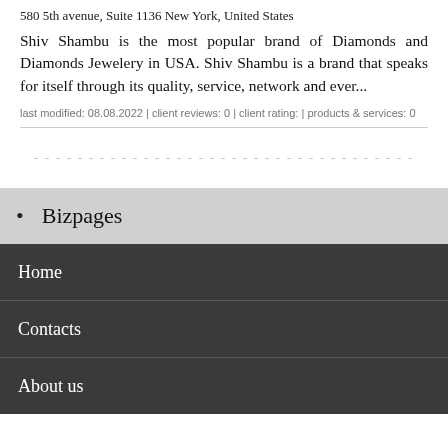580 5th avenue, Suite 1136 New York, United States
Shiv Shambu is the most popular brand of Diamonds and Diamonds Jewelery in USA. Shiv Shambu is a brand that speaks for itself through its quality, service, network and ever...
last modified: 08.08.2022 | client reviews: 0 | client rating: | products & services: 0
Bizpages
Home
Contacts
About us